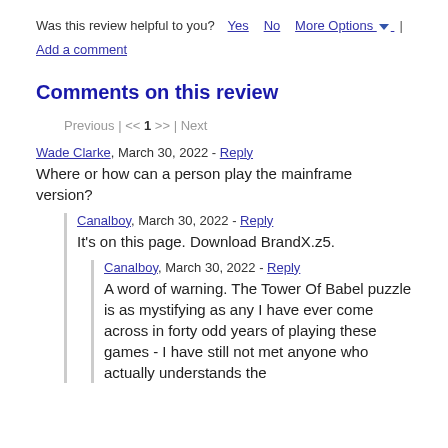Was this review helpful to you? Yes  No  More Options ▾ | Add a comment
Comments on this review
Previous | << 1 >> | Next
Wade Clarke, March 30, 2022 - Reply
Where or how can a person play the mainframe version?
Canalboy, March 30, 2022 - Reply
It's on this page. Download BrandX.z5.
Canalboy, March 30, 2022 - Reply
A word of warning. The Tower Of Babel puzzle is as mystifying as any I have ever come across in forty odd years of playing these games - I have still not met anyone who actually understands the